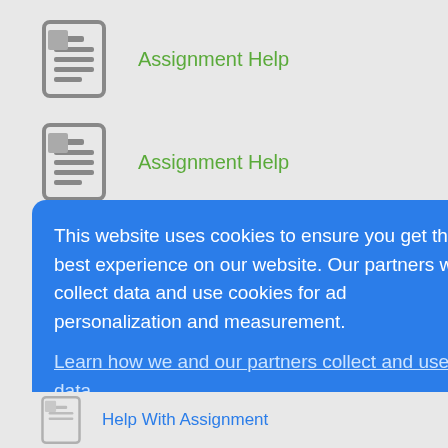Assignment Help
Assignment Help
Assignment Help
[Figure (screenshot): Cookie consent banner overlay with blue background. Text: 'This website uses cookies to ensure you get the best experience on our website. Our partners will collect data and use cookies for ad personalization and measurement.' Link: 'Learn how we and our partners collect and use data.' Button: OK]
Help With Assignment